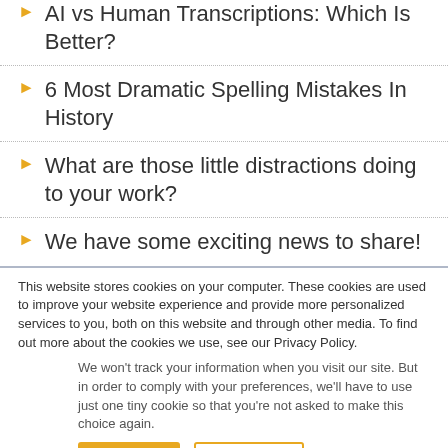AI vs Human Transcriptions: Which Is Better?
6 Most Dramatic Spelling Mistakes In History
What are those little distractions doing to your work?
We have some exciting news to share!
This website stores cookies on your computer. These cookies are used to improve your website experience and provide more personalized services to you, both on this website and through other media. To find out more about the cookies we use, see our Privacy Policy.
We won't track your information when you visit our site. But in order to comply with your preferences, we'll have to use just one tiny cookie so that you're not asked to make this choice again.